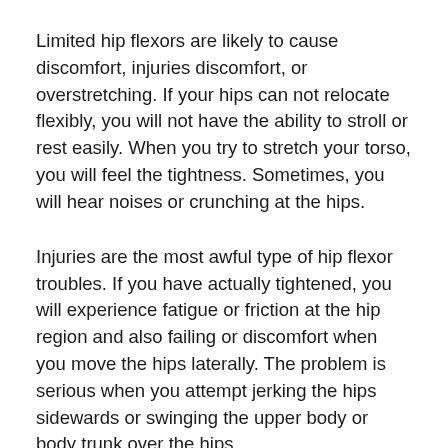Limited hip flexors are likely to cause discomfort, injuries discomfort, or overstretching. If your hips can not relocate flexibly, you will not have the ability to stroll or rest easily. When you try to stretch your torso, you will feel the tightness. Sometimes, you will hear noises or crunching at the hips.
Injuries are the most awful type of hip flexor troubles. If you have actually tightened, you will experience fatigue or friction at the hip region and also failing or discomfort when you move the hips laterally. The problem is serious when you attempt jerking the hips sidewards or swinging the upper body or body trunk over the hips.